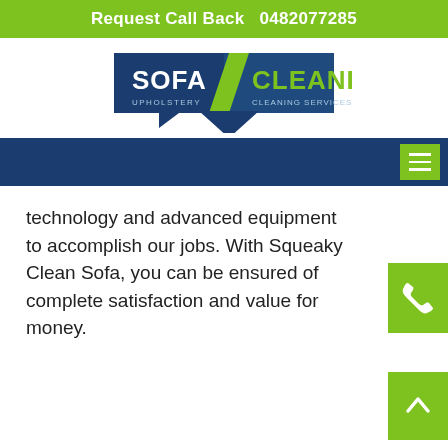Request Call Back   0482077285
[Figure (logo): Sofa Cleaning Upholstery Cleaning Services logo with dark blue tag shapes and green/white text]
technology and advanced equipment to accomplish our jobs. With Squeaky Clean Sofa, you can be ensured of complete satisfaction and value for money.
[Figure (illustration): Green square button with white phone/call icon]
[Figure (illustration): Green square button with white upward chevron/arrow icon (back to top)]